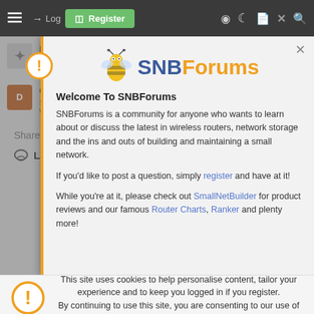[Figure (screenshot): SNBForums website screenshot showing navigation bar, forum thread list, welcome modal popup, and cookie consent bar]
Welcome To SNBForums
SNBForums is a community for anyone who wants to learn about or discuss the latest in wireless routers, network storage and the ins and outs of building and maintaining a small network.
If you'd like to post a question, simply register and have at it!
While you're at it, please check out SmallNetBuilder for product reviews and our famous Router Charts, Ranker and plenty more!
This site uses cookies to help personalise content, tailor your experience and to keep you logged in if you register.
By continuing to use this site, you are consenting to our use of cookies.